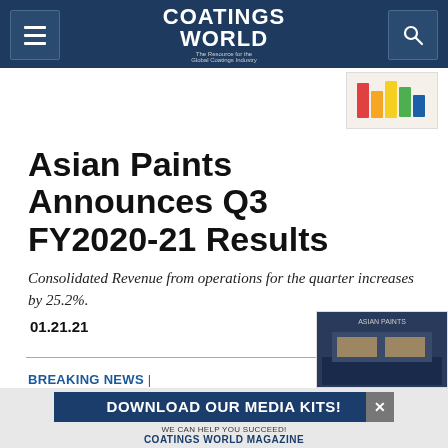Coatings World — The Resource for the Global Coatings Industry
[Figure (photo): Small thumbnail image showing colorful paint/coatings products (bar-chart style color blocks in red, yellow, green)]
Asian Paints Announces Q3 FY2020-21 Results
Consolidated Revenue from operations for the quarter increases by 25.2%.
01.21.21
[Figure (photo): Bottom right thumbnail image of a building storefront]
BREAKING NEWS | PAINT & COATINGS MANUFACTURER NEWS
DOWNLOAD OUR MEDIA KITS! WE CAN HELP YOU SUCCEED! COATINGS WORLD MAGAZINE